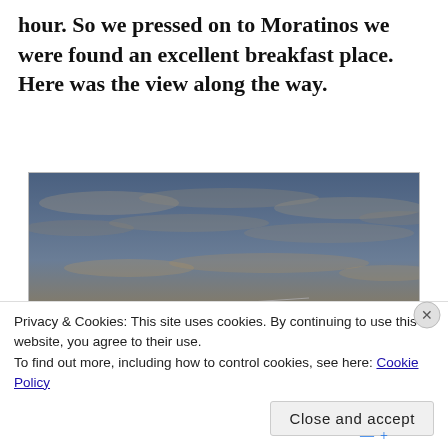hour. So we pressed on to Moratinos we were found an excellent breakfast place. Here was the view along the way.
[Figure (photo): A landscape photograph showing a dawn or sunset sky with dramatic orange and golden hues near the horizon, scattered clouds above in a blue-grey sky, and a dark silhouetted flat landscape with trees and a road in the foreground.]
Privacy & Cookies: This site uses cookies. By continuing to use this website, you agree to their use.
To find out more, including how to control cookies, see here: Cookie Policy
Close and accept